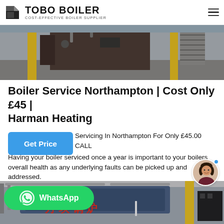TOBO BOILER — COST-EFFECTIVE BOILER SUPPLIER
[Figure (photo): Industrial boiler equipment in a factory setting with yellow pillars and metal stairs]
Boiler Service Northampton | Cost Only £45 | Harman Heating
Servicing In Northampton For Only £45.00 CALL Having your boiler serviced once a year is important to your boilers overall health as any underlying faults can be picked up and addressed.
[Figure (photo): Industrial boiler room with blue equipment, yellow pillars and Chinese characters on wall]
[Figure (other): WhatsApp contact button (green)]
[Figure (other): Chat avatar of a woman with blue online indicator dot]